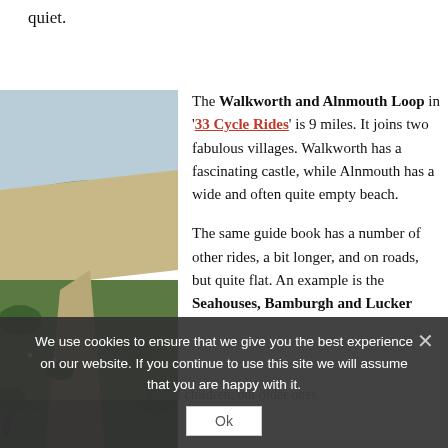quiet.
[Figure (photo): Landscape photo showing a sandy dirt path winding through green scrubby vegetation and dunes under a pale blue sky, with hills in the background. A bicycle handlebar is partially visible at the bottom left.]
The Walkworth and Alnmouth Loop in '33 Cycle Rides' is 9 miles. It joins two fabulous villages. Walkworth has a fascinating castle, while Alnmouth has a wide and often quite empty beach.

The same guide book has a number of other rides, a bit longer, and on roads, but quite flat. An example is the Seahouses, Bamburgh and Lucker ...
for small children, but older ones should enjoy it. Take care on the roads though.
Berwick-upon-Tweed to Holy Island is 10.6 iconic miles each way, it
We use cookies to ensure that we give you the best experience on our website. If you continue to use this site we will assume that you are happy with it.